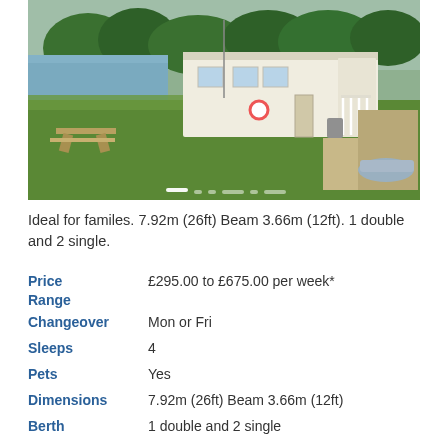[Figure (photo): Exterior photo of a white mobile/static holiday home beside water, with a picnic table on green grass, a porch with white railing, a boat on a dock, and trees in the background. Slideshow navigation dots visible at bottom.]
Ideal for familes. 7.92m (26ft) Beam 3.66m (12ft). 1 double and 2 single.
| Label | Value |
| --- | --- |
| Price Range | £295.00 to £675.00 per week* |
| Changeover | Mon or Fri |
| Sleeps | 4 |
| Pets | Yes |
| Dimensions | 7.92m (26ft) Beam 3.66m (12ft) |
| Berth | 1 double and 2 single |